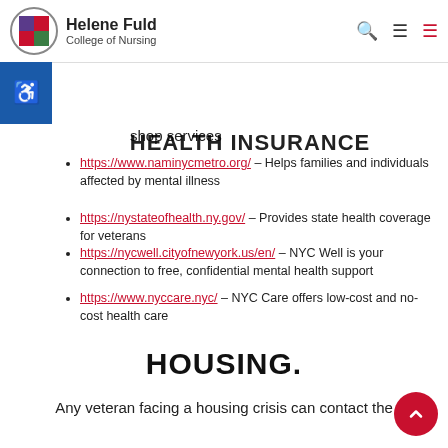Helene Fuld College of Nursing
shop services
HEALTH INSURANCE
https://www.naminycmetro.org/ – Helps families and individuals affected by mental illness
https://nystateofhealth.ny.gov/ – Provides state health coverage for veterans
https://nycwell.cityofnewyork.us/en/ – NYC Well is your connection to free, confidential mental health support
https://www.nyccare.nyc/ – NYC Care offers low-cost and no-cost health care
HOUSING.
Any veteran facing a housing crisis can contact the